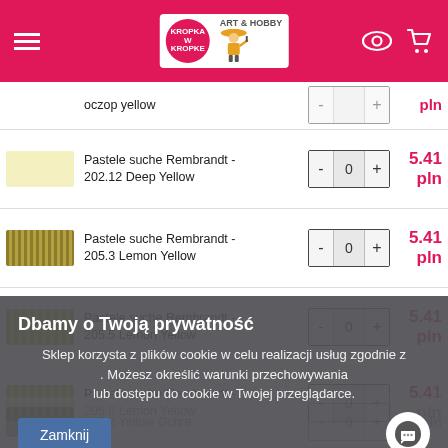[Figure (screenshot): Kropka w Kropke Art & Hobby store header with hamburger menu, logo, eye icon and cart icon on pink/crimson background]
Pastele suche Rembrandt - 202.12 Deep Yellow — 5.41 pln
Pastele suche Rembrandt - 205.3 Lemon Yellow — 5.41 pln
Pastele suche Rembrandt - 205.5 Lemon Yellow — 5.41 pln
Pastele suche Rembrandt - 205.8 Lemon Yellow — 5.41 pln
Dbamy o Twoją prywatność
Sklep korzysta z plików cookie w celu realizacji usług zgodnie z . Możesz określić warunki przechowywania lub dostępu do cookie w Twojej przeglądarce.
Zamknij
227.2 Yellow Ochre — pln